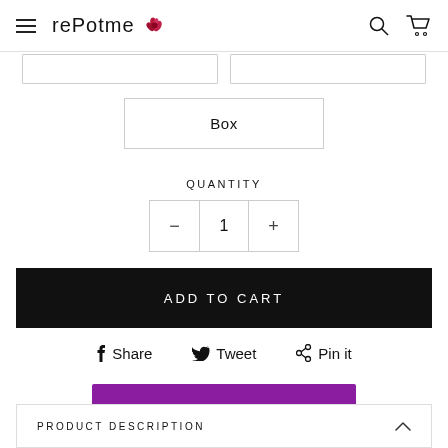rePotme (logo with flower icon, hamburger menu, search and cart icons)
Box
QUANTITY
— 1 +
ADD TO CART
Share  Tweet  Pin it
SIZE AND QUANTITY GUIDE
PRODUCT DESCRIPTION